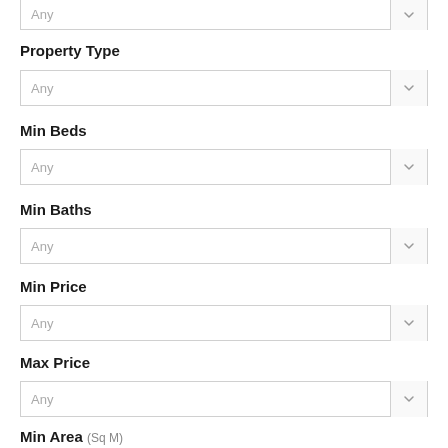[Figure (screenshot): Partial dropdown selector showing 'Any' with arrow at top of page]
Property Type
[Figure (screenshot): Dropdown selector labeled 'Any' with arrow button]
Min Beds
[Figure (screenshot): Dropdown selector labeled 'Any' with arrow button]
Min Baths
[Figure (screenshot): Dropdown selector labeled 'Any' with arrow button]
Min Price
[Figure (screenshot): Dropdown selector labeled 'Any' with arrow button]
Max Price
[Figure (screenshot): Dropdown selector labeled 'Any' with arrow button]
Min Area (Sq M)